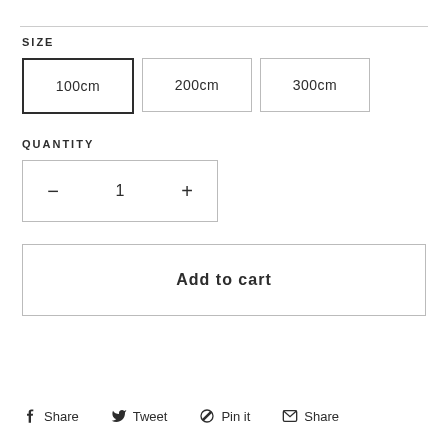SIZE
100cm  200cm  300cm
QUANTITY
- 1 +
Add to cart
Share  Tweet  Pin it  Share